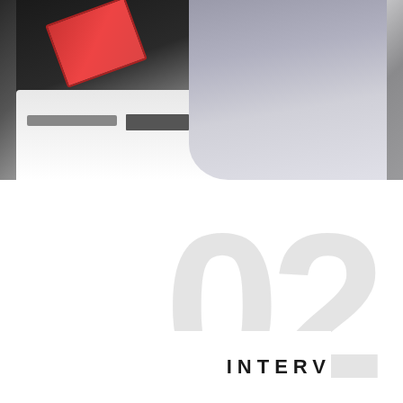[Figure (photo): Two people at a desk in an interview or meeting setting. The left figure in dark clothing holds a red clipboard/folder. The right figure is wearing grey. Items on the desk include a laptop, book/notepad, and phone.]
02
INTERV